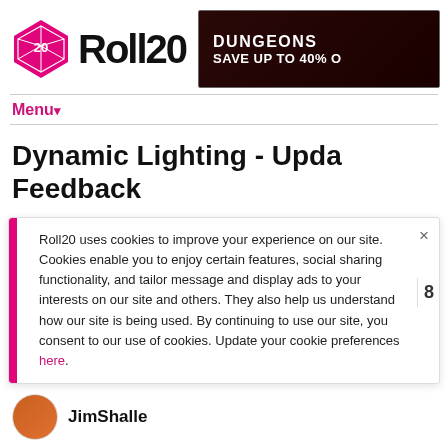[Figure (logo): Roll20 logo with pink d20 die icon and bold Roll20 text]
[Figure (screenshot): Dungeons & Dragons ad banner: 'DUNGEONS' and 'SAVE UP TO 40%' on dark red background]
Menu▾
Dynamic Lighting - Upda... Feedback
Roll20 uses cookies to improve your experience on our site. Cookies enable you to enjoy certain features, social sharing functionality, and tailor message and display ads to your interests on our site and others. They also help us understand how our site is being used. By continuing to use our site, you consent to our use of cookies. Update your cookie preferences here.
[Figure (photo): User avatar photo (partial, orange/brown tones)]